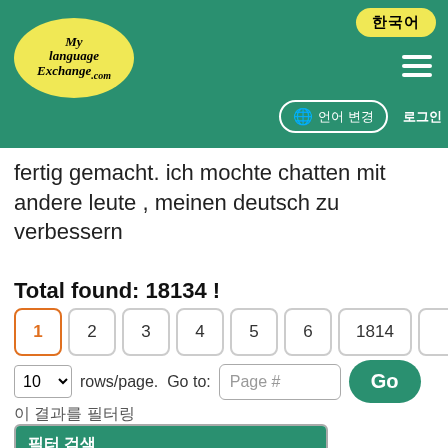MyLanguageExchange.com
fertig gemacht. ich mochte chatten mit andere leute , meinen deutsch zu verbessern
Total found: 18134 !
1 2 3 4 5 6 1814 →
10 rows/page. Go to: Page # Go
이 결과를 필터링
| 필터 검색 |
| --- |
| 이 결과를 좁힐 항목을 선택하십시오: |
| 독일어 (모국어) |
| 언어를 선택하세요 |